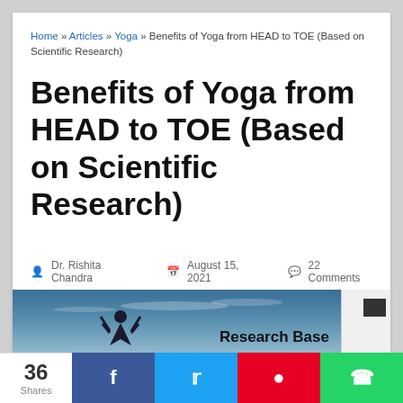Home » Articles » Yoga » Benefits of Yoga from HEAD to TOE (Based on Scientific Research)
Benefits of Yoga from HEAD to TOE (Based on Scientific Research)
Dr. Rishita Chandra  August 15, 2021  22 Comments
[Figure (photo): Hero image showing a yoga silhouette against a blue sky with text 'Research Based']
36 Shares